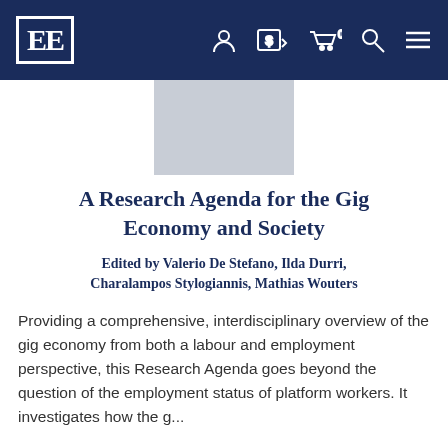EE [logo] navigation bar with user, currency, cart, search, and menu icons
[Figure (other): Gray rectangular book cover placeholder image]
A Research Agenda for the Gig Economy and Society
Edited by Valerio De Stefano, Ilda Durri, Charalampos Stylogiannis, Mathias Wouters
Providing a comprehensive, interdisciplinary overview of the gig economy from both a labour and employment perspective, this Research Agenda goes beyond the question of the employment status of platform workers. It investigates how the g...
Hardback (November 2022)
List price $130.00